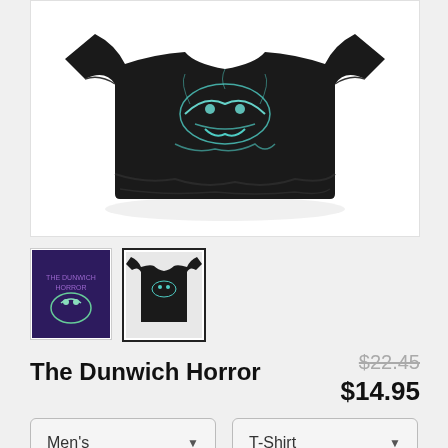[Figure (photo): Black t-shirt with teal/cyan horror graphic design, shown folded, against white background]
[Figure (photo): Small thumbnail: purple horror poster graphic]
[Figure (photo): Small thumbnail (selected/active): black t-shirt front view with horror graphic, bordered in black]
The Dunwich Horror
$22.45 $14.95
Men's
T-Shirt
SELECT YOUR FIT